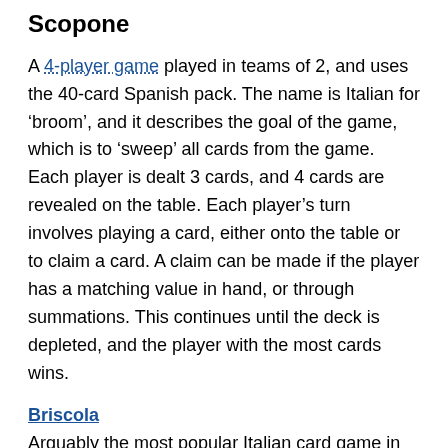Scopone
A 4-player game played in teams of 2, and uses the 40-card Spanish pack. The name is Italian for ‘broom’, and it describes the goal of the game, which is to ‘sweep’ all cards from the game. Each player is dealt 3 cards, and 4 cards are revealed on the table. Each player’s turn involves playing a card, either onto the table or to claim a card. A claim can be made if the player has a matching value in hand, or through summations. This continues until the deck is depleted, and the player with the most cards wins.
Briscola
Arguably the most popular Italian card game in modern day Italy, Briscola is a trick-taking card game for 2-6 players. Teams can be implemented so that there are always 2 teams. Each player begins with 3 cards, and